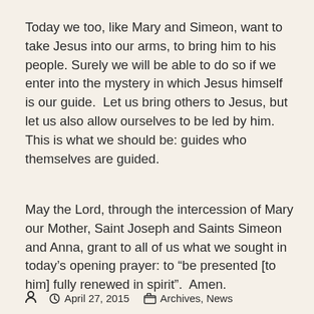Today we too, like Mary and Simeon, want to take Jesus into our arms, to bring him to his people. Surely we will be able to do so if we enter into the mystery in which Jesus himself is our guide.  Let us bring others to Jesus, but let us also allow ourselves to be led by him.  This is what we should be: guides who themselves are guided.
May the Lord, through the intercession of Mary our Mother, Saint Joseph and Saints Simeon and Anna, grant to all of us what we sought in today's opening prayer: to “be presented [to him] fully renewed in spirit”.  Amen.
April 27, 2015   Archives, News